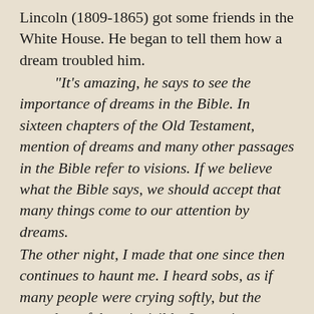Lincoln (1809-1865) got some friends in the White House. He began to tell them how a dream troubled him.

"It's amazing, he says to see the importance of dreams in the Bible. In sixteen chapters of the Old Testament, mention of dreams and many other passages in the Bible refer to visions. If we believe what the Bible says, we should accept that many things come to our attention by dreams.
The other night, I made that one since then continues to haunt me. I heard sobs, as if many people were crying softly, but the crowd tearful me invisible. I went into another room, there was no one, yet the same sounds of weeping followed me as I went along. Every object was familiar to me but I could not see anywhere the people who